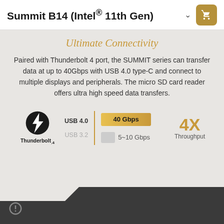Summit B14 (Intel® 11th Gen)
Ultimate Connectivity
Paired with Thunderbolt 4 port, the SUMMIT series can transfer data at up to 40Gbps with USB 4.0 type-C and connect to multiple displays and peripherals. The micro SD card reader offers ultra high speed data transfers.
[Figure (infographic): Thunderbolt 4 connectivity diagram showing USB 4.0 at 40 Gbps vs USB 3.2 at 5~10 Gbps, with 4X Throughput callout]